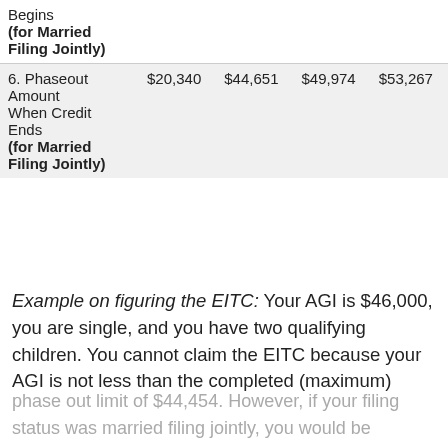|  | No Children | One Child | Two Children | Three or More Children |
| --- | --- | --- | --- | --- |
| 5. Phaseout Amount When Credit Begins (for Married Filing Jointly) | $20,340 | $44,651 | $49,974 | $53,267 |
| 6. Phaseout Amount When Credit Ends (for Married Filing Jointly) | $20,340 | $44,651 | $49,974 | $53,267 |
Example on figuring the EITC: Your AGI is $46,000, you are single, and you have two qualifying children. You cannot claim the EITC because your AGI is not less than the completed (maximum) phase out limit of $44,454. However, if your filing status was married filing jointly, you would be